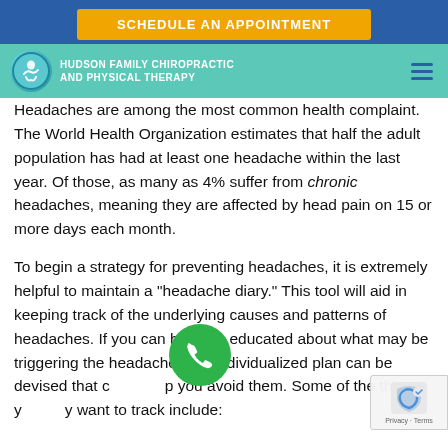SCHEDULE AN APPOINTMENT
HUDSON FAMILY CHIROPRACTIC AND PHYSICAL THERAPY
Headaches are among the most common health complaint. The World Health Organization estimates that half the adult population has had at least one headache within the last year. Of those, as many as 4% suffer from chronic headaches, meaning they are affected by head pain on 15 or more days each month.
To begin a strategy for preventing headaches, it is extremely helpful to maintain a "headache diary." This tool will aid in keeping track of the underlying causes and patterns of headaches. If you can become educated about what may be triggering the headaches, an individualized plan can be devised that can help you avoid them. Some of the things you may want to track include: